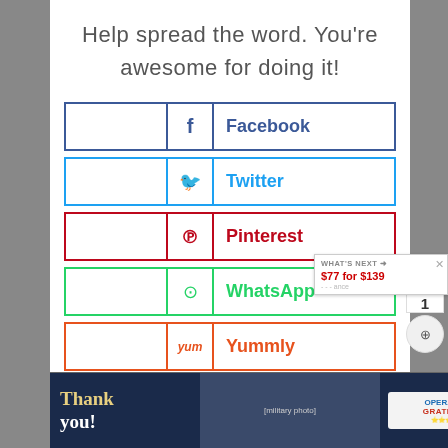Help spread the word. You're awesome for doing it!
[Figure (infographic): Social share buttons for Facebook, Twitter, Pinterest, WhatsApp, Yummly, Flipboard, Mix, and a partially visible button. Each button has a colored border, icon, and label matching the platform brand color.]
[Figure (infographic): Advertisement banner at bottom: 'Thank you!' text with military imagery and Operation Gratitude logo]
WHAT'S NEXT → $77 for $139
1